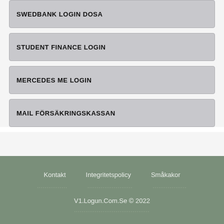SWEDBANK LOGIN DOSA
STUDENT FINANCE LOGIN
MERCEDES ME LOGIN
MAIL FÖRSÄKRINGSKASSAN
Kontakt   Integritetspolicy   Småkakor
V1.Logun.Com.Se © 2022
Denna webbplats använder cookies för att säkerställa att du får den bästa upplevelsen på vår webbplats.